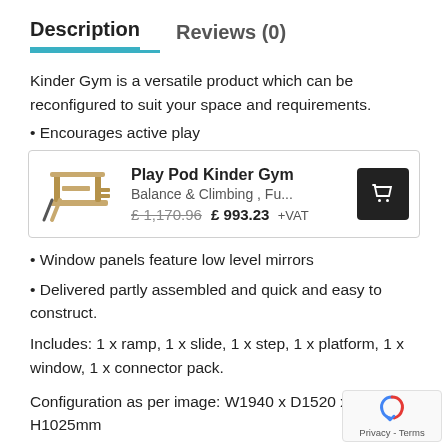Description    Reviews (0)
Kinder Gym is a versatile product which can be reconfigured to suit your space and requirements.
• Encourages active play
[Figure (other): Product card showing Play Pod Kinder Gym with image of wooden climbing/sliding gym structure. Balance & Climbing, Fu... £1,170.96 £993.23 +VAT with shopping cart icon.]
• Window panels feature low level mirrors
• Delivered partly assembled and quick and easy to construct.
Includes: 1 x ramp, 1 x slide, 1 x step, 1 x platform, 1 x window, 1 x connector pack.
Configuration as per image: W1940 x D1520 x H1025mm